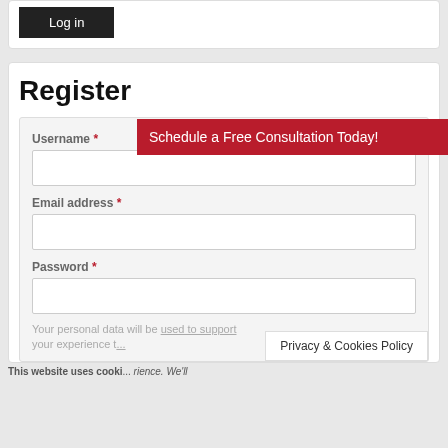[Figure (screenshot): Login button (black background, white text 'Log in') at top of page inside a white card]
Register
[Figure (infographic): Red banner overlay: 'Schedule a Free Consultation Today!']
Username *
Email address *
Password *
Your personal data will be used to support your experience t...
Privacy & Cookies Policy
This website uses cooki... rience. We'll